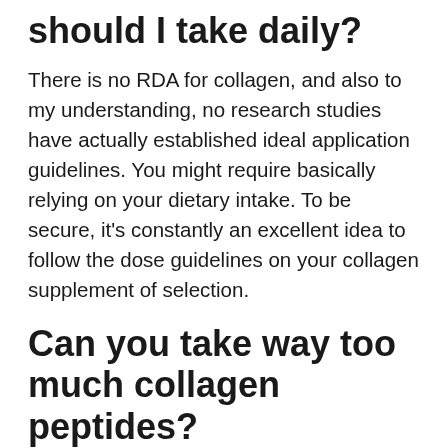should I take daily?
There is no RDA for collagen, and also to my understanding, no research studies have actually established ideal application guidelines. You might require basically relying on your dietary intake. To be secure, it’s constantly an excellent idea to follow the dose guidelines on your collagen supplement of selection.
Can you take way too much collagen peptides?
Many points in nature adhere to a J-shaped curve– excessive or insufficient are both bad. The exact same might be real for collagen